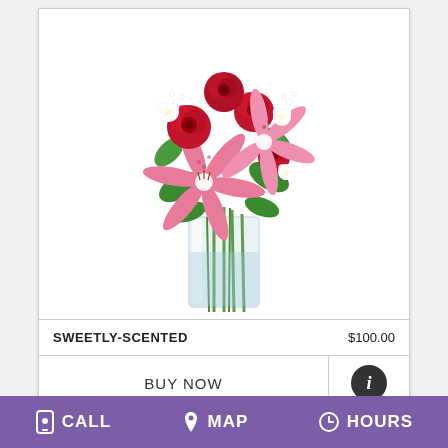[Figure (photo): A floral arrangement in a clear glass vase featuring red roses, pink stargazer lilies, white flowers, and green foliage.]
SWEETLY-SCENTED    $100.00
BUY NOW
CALL   MAP   HOURS